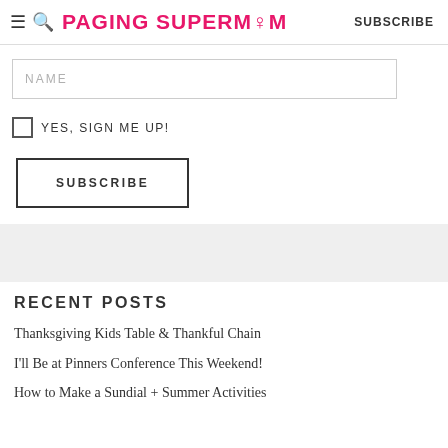PAGING SUPERMOM | SUBSCRIBE
[Figure (other): Name input field with placeholder text NAME]
YES, SIGN ME UP!
SUBSCRIBE
RECENT POSTS
Thanksgiving Kids Table & Thankful Chain
I'll Be at Pinners Conference This Weekend!
How to Make a Sundial + Summer Activities